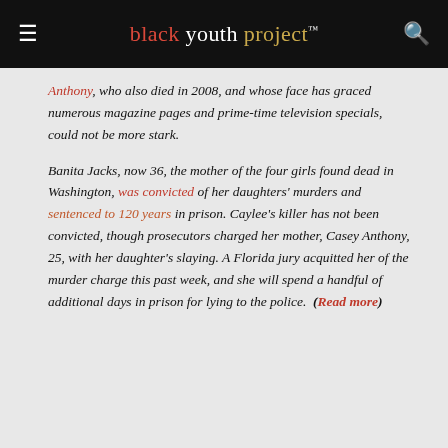black youth project™
Anthony, who also died in 2008, and whose face has graced numerous magazine pages and prime-time television specials, could not be more stark.

Banita Jacks, now 36, the mother of the four girls found dead in Washington, was convicted of her daughters' murders and sentenced to 120 years in prison. Caylee's killer has not been convicted, though prosecutors charged her mother, Casey Anthony, 25, with her daughter's slaying. A Florida jury acquitted her of the murder charge this past week, and she will spend a handful of additional days in prison for lying to the police. (Read more)